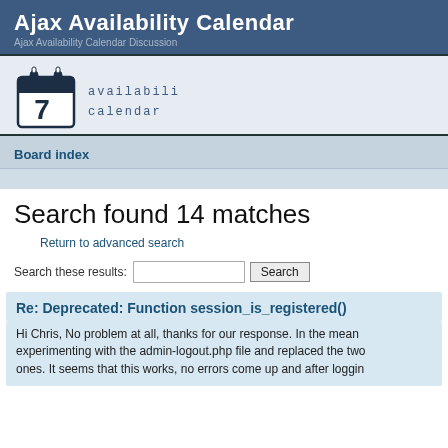Ajax Availability Calendar
Ajax Availability Calendar Discussion
[Figure (logo): Ajax Availability Calendar logo with calendar icon showing number 7 and stylized text 'availability calendar']
Board index
Search found 14 matches
Return to advanced search
Search these results: [input] Search
Re: Deprecated: Function session_is_registered()
Hi Chris, No problem at all, thanks for our response. In the mean experimenting with the admin-logout.php file and replaced the two ones. It seems that this works, no errors come up and after loggin